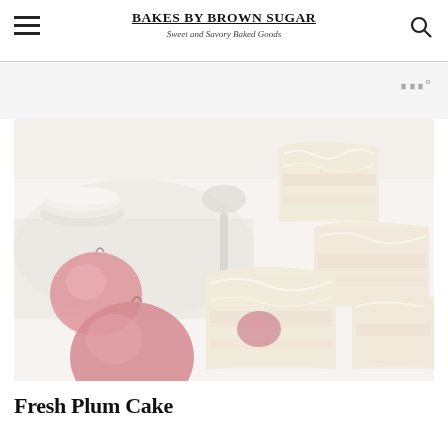BAKES BY BROWN SUGAR — Sweet and Savory Baked Goods
[Figure (photo): Overhead photo of fresh plum cake bars cut into squares, with plums and a spoon on a white surface]
Fresh Plum Cake